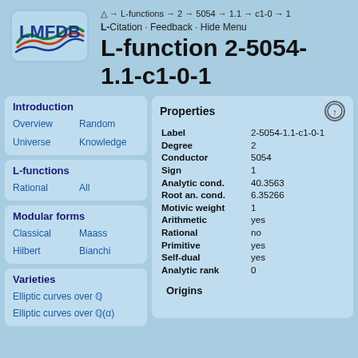[Figure (logo): LMFDB logo with stylized wave and letters LMFDB]
△ → L-functions → 2 → 5054 → 1.1 → c1-0 → 1
L- Citation · Feedback · Hide Menu
L-function 2-5054-1.1-c1-0-1
Introduction
Overview   Random
Universe   Knowledge
L-functions
Rational   All
Modular forms
Classical   Maass
Hilbert   Bianchi
Varieties
Elliptic curves over ℚ
Elliptic curves over ℚ(α)
| Property | Value |
| --- | --- |
| Label | 2-5054-1.1-c1-0-1 |
| Degree | 2 |
| Conductor | 5054 |
| Sign | 1 |
| Analytic cond. | 40.3563 |
| Root an. cond. | 6.35266 |
| Motivic weight | 1 |
| Arithmetic | yes |
| Rational | no |
| Primitive | yes |
| Self-dual | yes |
| Analytic rank | 0 |
Origins